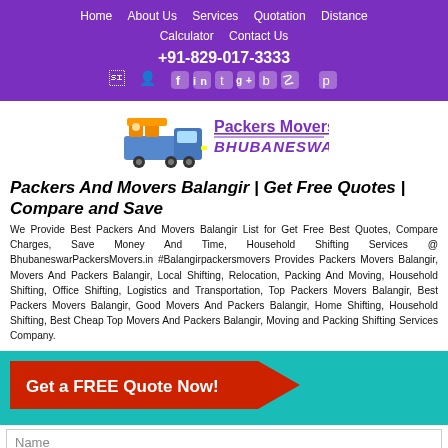Home | About Us | Services | Quotation | Distance Calculator | Contact Us | +91-829-017-3333
[Figure (logo): Packers Movers Bhubaneswar logo with blue truck icon]
Packers And Movers Balangir | Get Free Quotes | Compare and Save
We Provide Best Packers And Movers Balangir List for Get Free Best Quotes, Compare Charges, Save Money And Time, Household Shifting Services @ BhubaneswarPackersMovers.in #Balangirpackersmovers Provides Packers Movers Balangir, Movers And Packers Balangir, Local Shifting, Relocation, Packing And Moving, Household Shifting, Office Shifting, Logistics and Transportation, Top Packers Movers Balangir, Best Packers Movers Balangir, Good Movers And Packers Balangir, Home Shifting, Household Shifting, Best Cheap Top Movers And Packers Balangir, Moving and Packing Shifting Services Company.
[Figure (infographic): Get a FREE Quote Now! red arrow button on teal background]
Name